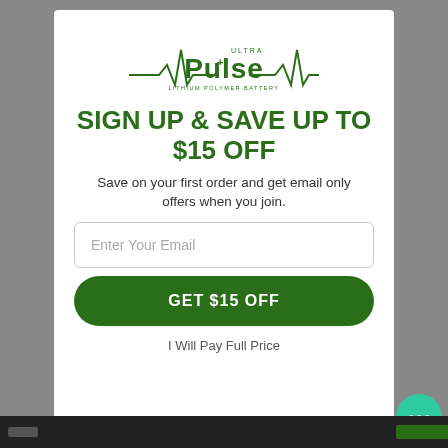[Figure (logo): Ultra Pulse Lithium Polymer Battery logo with green ECG heartbeat line and stylized 'Pulse' text]
SIGN UP & SAVE UP TO $15 OFF
Save on your first order and get email only offers when you join.
Enter Your Email
GET $15 OFF
I Will Pay Full Price